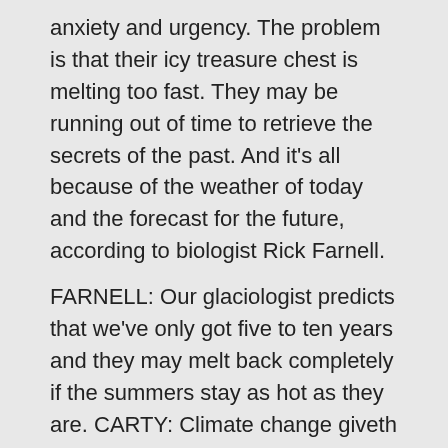anxiety and urgency. The problem is that their icy treasure chest is melting too fast. They may be running out of time to retrieve the secrets of the past. And it's all because of the weather of today and the forecast for the future, according to biologist Rick Farnell.
FARNELL: Our glaciologist predicts that we've only got five to ten years and they may melt back completely if the summers stay as hot as they are. CARTY: Climate change giveth and taketh away.
FARNELL: Yeah, and then they're no longer going to be time capsules, if they melt completely back.
(Helicopter engines)
CARTY: In the Yukon Mountains of Western Canada, I'm Bob Carty for Living on Earth.
(Music up and under)